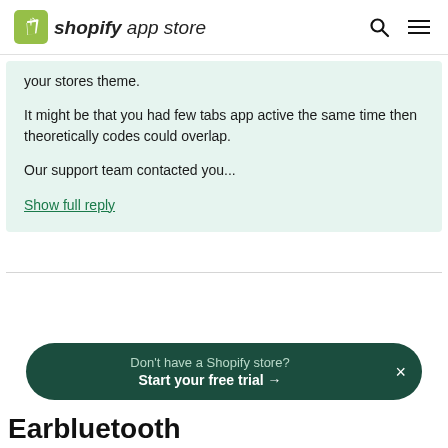shopify app store
your stores theme.

It might be that you had few tabs app active the same time then theoretically codes could overlap.

Our support team contacted you...
Show full reply
Don't have a Shopify store?
Start your free trial →
Earbluetooth